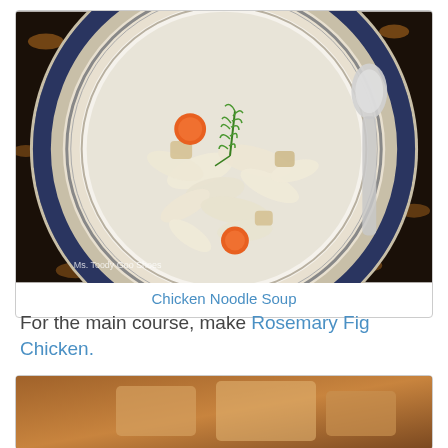[Figure (photo): Top-down view of a bowl of chicken noodle soup with egg noodles, carrot slices, chunks of chicken, and fresh dill garnish, served on a decorative blue and white floral plate with a silver spoon beside it, on a dark floral tablecloth. Watermark reads 'Ms. Toody Goo Shoes'.]
Chicken Noodle Soup
For the main course, make Rosemary Fig Chicken.
[Figure (photo): Partial view of a second food photo, mostly cropped, showing a warm-toned dish.]